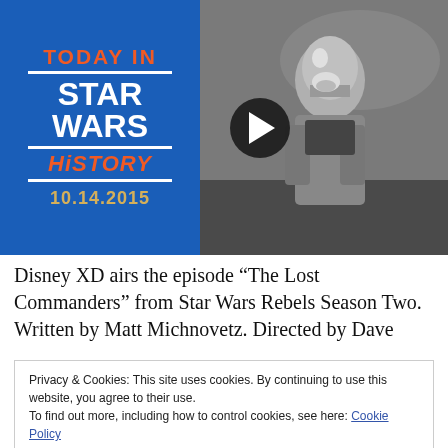[Figure (screenshot): Video thumbnail showing 'Today in Star Wars History 10.14.2015' badge on blue background with play button, and a Clone Trooper character from animated series on the right side]
Disney XD airs the episode “The Lost Commanders” from Star Wars Rebels Season Two. Written by Matt Michnovetz. Directed by Dave
Privacy & Cookies: This site uses cookies. By continuing to use this website, you agree to their use.
To find out more, including how to control cookies, see here: Cookie Policy
Close and accept
approach an old Republic AT-TE walker, they meet up